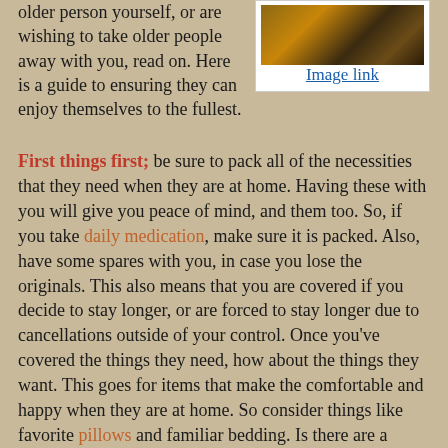older person yourself, or are wishing to take older people away with you, read on. Here is a guide to ensuring they can enjoy themselves to the fullest.
[Figure (photo): Outdoor photo with natural vegetation, warm tones of brown and orange grasses]
Image link
First things first; be sure to pack all of the necessities that they need when they are at home. Having these with you will give you peace of mind, and them too. So, if you take daily medication, make sure it is packed. Also, have some spares with you, in case you lose the originals. This also means that you are covered if you decide to stay longer, or are forced to stay longer due to cancellations outside of your control. Once you've covered the things they need, how about the things they want. This goes for items that make the comfortable and happy when they are at home. So consider things like favorite pillows and familiar bedding. Is there are a certain type of tea they like to drink each morning? While little things, they can